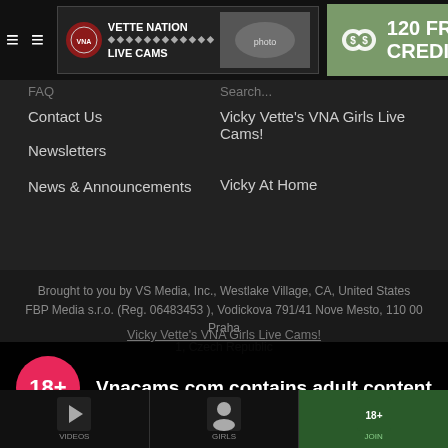Vette Nation Live Cams — 120 FREE CREDITS!
FAQ
Contact Us
Newsletters
News & Announcements
Search...
Vicky Vette's VNA Girls Live Cams!
Vicky At Home
Brought to you by VS Media, Inc., Westlake Village, CA, United States FBP Media s.r.o. (Reg. 06483453 ), Vodickova 791/41 Nove Mesto, 110 00 Praha 1, Czech Republic
Vicky Vette's VNA Girls Live Cams!
Vnacams.com contains adult content
By using the site, you acknowledge you have read our Privacy Policy, and agree to our Terms and Conditions.
We use cookies to optimize your experience, analyze traffic, and deliver more personalized service. To learn more, please see our Privacy Policy.
I AGREE